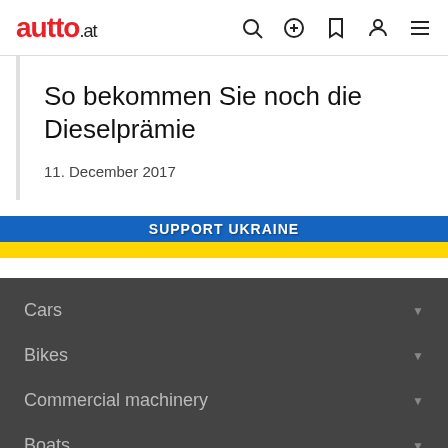autto.at
So bekommen Sie noch die Dieselprämie
11. December 2017
[Figure (infographic): Support Ukraine banner with blue and yellow stripes, text reading SUPPORT UKRAINE]
Cars
Bikes
Commercial machinery
Boats